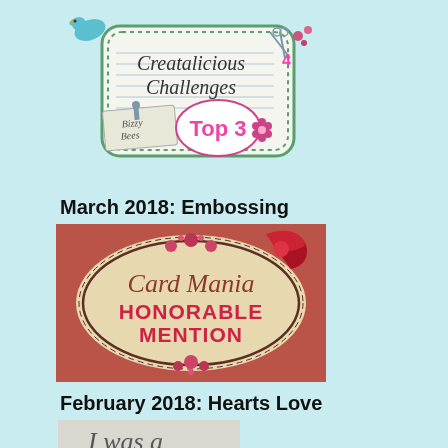[Figure (logo): Creatalicious Challenges Top 3 badge with Bizzy Bees branding, featuring a teal bird, decorative green frame with dots, and pink 'Top 3' text with scissors and flowers]
March 2018: Embossing
[Figure (logo): Card Mania Honorable Mention badge on vintage parchment background with decorative oval frame and red bow, pink bold text reading HONORABLE MENTION]
February 2018: Hearts Love
[Figure (illustration): Partial image showing italic text 'I was a' on a light grey/white background, presumably a winner/participant badge]